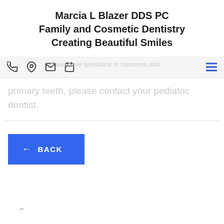Marcia L Blazer DDS PC
Family and Cosmetic Dentistry
Creating Beautiful Smiles
[Figure (screenshot): Navigation bar with phone, location, email, calendar icons and hamburger menu icon]
If you have any questions or concerns about primary teeth, please contact your pediatric dentist.
[Figure (other): Blue BACK button with left arrow]